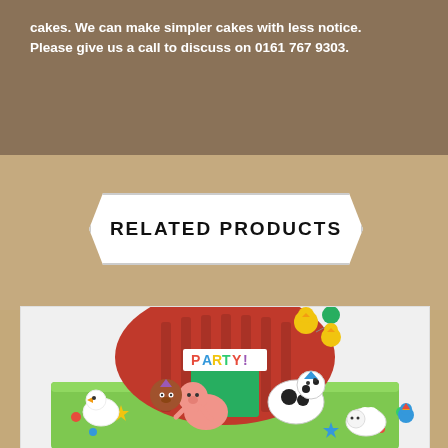cakes. We can make simpler cakes with less notice. Please give us a call to discuss on 0161 767 9303.
RELATED PRODUCTS
[Figure (photo): A colorful celebration cake shaped like a red barn with fondant farm animals including a cow, pig, horse, duck, and chicks. The barn has a 'PARTY!' sign. The cake base is green grass with colorful star and dot decorations.]